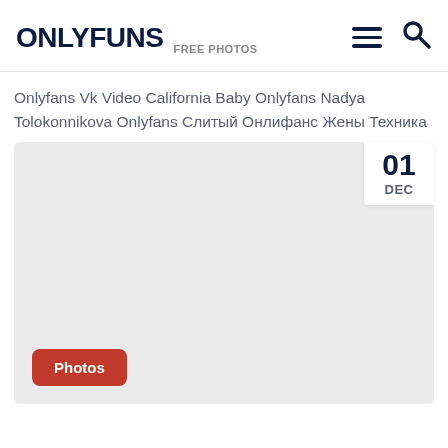ONLYFUNS FREE PHOTOS
Onlyfans Vk Video California Baby Onlyfans Nadya Tolokonnikova Onlyfans Слитый Онлифанс Жены Техника
[Figure (other): Gray placeholder card with date badge showing 01 DEC in top-right corner and a red Photos button in bottom-left corner]